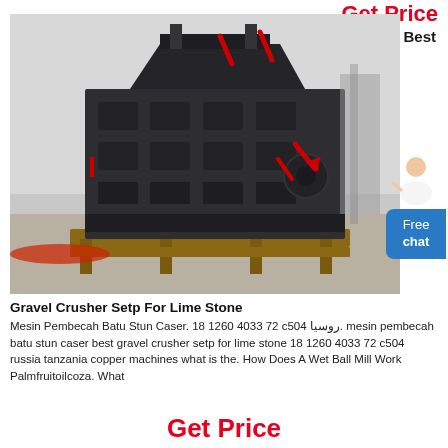Get Price
Best
[Figure (photo): Large industrial gravel/impact crusher machine, dark gray/black metal, sitting on a wooden pallet on a warehouse floor. Machine has multiple rectangular access panels, red arrows/indicators, and is shown from a front-angled perspective.]
Free chat
Gravel Crusher Setp For Lime Stone
Mesin Pembecah Batu Stun Caser. 18 1260 4033 72 c504 روسیا. mesin pembecah batu stun caser best gravel crusher setp for lime stone 18 1260 4033 72 c504 russia tanzania copper machines what is the. How Does A Wet Ball Mill Work Palmfruitoilcoza. What
Get Price